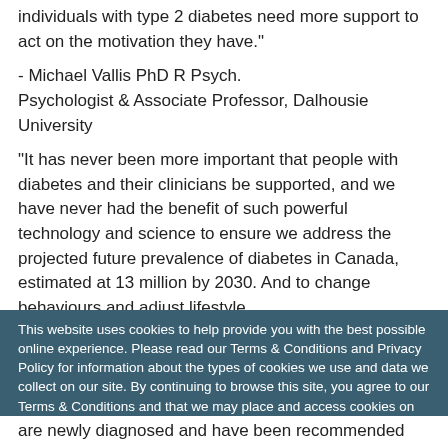individuals with type 2 diabetes need more support to act on the motivation they have."
- Michael Vallis PhD R Psych.
Psychologist & Associate Professor, Dalhousie University
"It has never been more important that people with diabetes and their clinicians be supported, and we have never had the benefit of such powerful technology and science to ensure we address the projected future prevalence of diabetes in Canada, estimated at 13 million by 2030. And to change behaviours and adjust lifestyle patterns, patients require motivational readiness to act
This website uses cookies to help provide you with the best possible online experience. Please read our Terms & Conditions and Privacy Policy for information about the types of cookies we use and data we collect on our site. By continuing to browse this site, you agree to our Terms & Conditions and that we may place and access cookies on your device.
I AGREE
are newly diagnosed and have been recommended